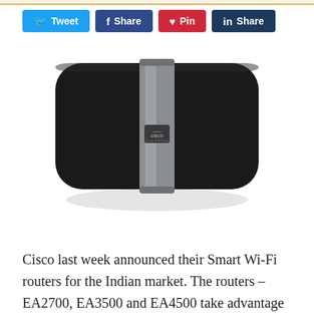[Figure (other): Social media share buttons row: Tweet (Twitter, blue), Share (Facebook, dark blue), Pin (Pinterest, red), Share (LinkedIn, dark navy)]
[Figure (photo): Cisco Linksys EA-series Smart Wi-Fi router viewed from above, black with a silver center band and Cisco/Linksys branding label, rounded rectangular shape on a white background.]
Cisco last week announced their Smart Wi-Fi routers for the Indian market. The routers – EA2700, EA3500 and EA4500 take advantage